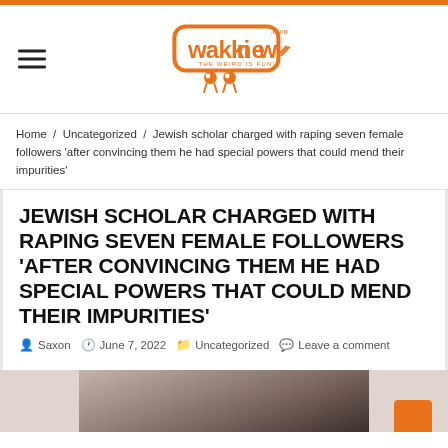wakkinews.com — THE WEIRD IS FUN!
Home / Uncategorized / Jewish scholar charged with raping seven female followers 'after convincing them he had special powers that could mend their impurities'
JEWISH SCHOLAR CHARGED WITH RAPING SEVEN FEMALE FOLLOWERS 'AFTER CONVINCING THEM HE HAD SPECIAL POWERS THAT COULD MEND THEIR IMPURITIES'
Saxon   June 7, 2022   Uncategorized   Leave a comment
[Figure (photo): Dark photograph showing a partially visible figure, cropped at bottom of page]